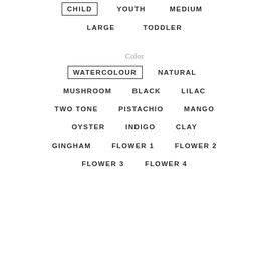CHILD (selected)
YOUTH
MEDIUM
LARGE
TODDLER
Color
WATERCOLOUR (selected)
NATURAL
MUSHROOM
BLACK
LILAC
TWO TONE
PISTACHIO
MANGO
OYSTER
INDIGO
CLAY
GINGHAM
FLOWER 1
FLOWER 2
FLOWER 3
FLOWER 4